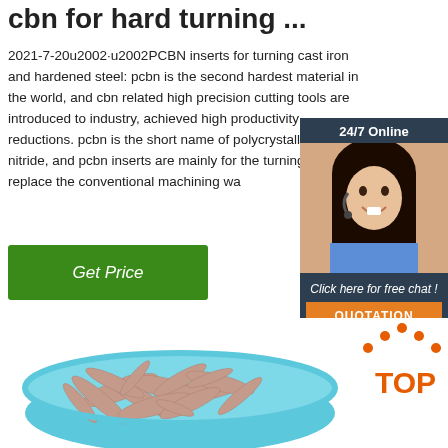cbn for hard turning ...
2021-7-20u2002·u2002PCBN inserts for turning cast iron and hardened steel: pcbn is the second hardest material in the world, and cbn related high precision cutting tools are introduced to industry, achieved high productivity reductions. pcbn is the short name of polycrystalline boron nitride, and pcbn inserts are mainly for the turning to replace the conventional machining wa
Get Price
[Figure (photo): Customer service agent chat widget with '24/7 Online' header, photo of smiling woman with headset, 'Click here for free chat!' text, and orange QUOTATION button]
[Figure (photo): Photo of chicken feet/toes in a blue bowl, with orange TOP logo in lower right corner]